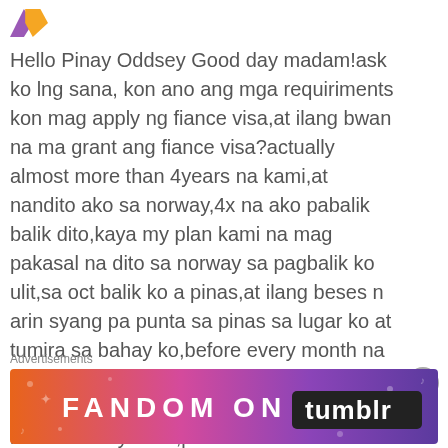[Figure (illustration): Purple and yellow avatar/logo icon]
Hello Pinay Oddsey Good day madam!ask ko lng sana, kon ano ang mga requiriments kon mag apply ng fiance visa,at ilang bwan na ma grant ang fiance visa?actually almost more than 4years na kami,at nandito ako sa norway,4x na ako pabalik balik dito,kaya my plan kami na mag pakasal na dito sa norway sa pagbalik ko ulit,sa oct balik ko a pinas,at ilang beses n arin syang pa punta sa pinas sa lugar ko at tumira sa bahay ko,before every month na sa pinas sya,at minsan 2 or 3months kami nag sasama,sa pinas noong unang punta ko dito sabay kami,pumunta sa norway,,,thank you and GOD BLESS YOU!SANA sana masagot nyo ang ang mga tanong
Advertisements
[Figure (illustration): Fandom on Tumblr advertisement banner with orange to purple gradient background and decorative icons]